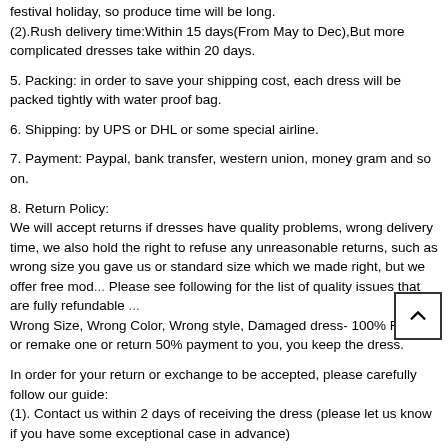festival holiday, so produce time will be long.
(2).Rush delivery time:Within 15 days(From May to Dec),But more complicated dresses take within 20 days.
5. Packing: in order to save your shipping cost, each dress will be packed tightly with water proof bag.
6. Shipping: by UPS or DHL or some special airline.
7. Payment: Paypal, bank transfer, western union, money gram and so on.
8. Return Policy:
We will accept returns if dresses have quality problems, wrong delivery time, we also hold the right to refuse any unreasonable returns, such as wrong size you gave us or standard size which we made right, but we offer free mod... Please see following for the list of quality issues that are fully refundable ...
Wrong Size, Wrong Color, Wrong style, Damaged dress- 100% Refund or remake one or return 50% payment to you, you keep the dress.
In order for your return or exchange to be accepted, please carefully follow our guide:
(1). Contact us within 2 days of receiving the dress (please let us know if you have some exceptional case in advance)